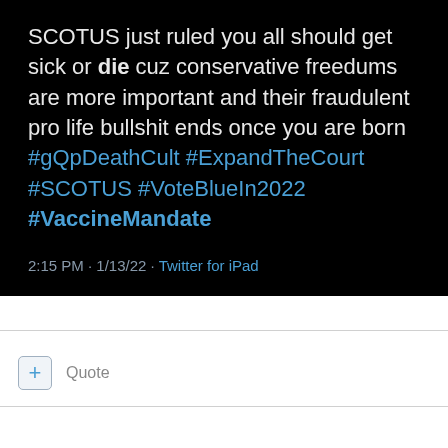[Figure (screenshot): Screenshot of a tweet with black background. Text reads: 'SCOTUS just ruled you all should get sick or die cuz conservative freedums are more important and their fraudulent pro life bullshit ends once you are born #gQpDeathCult #ExpandTheCourt #SCOTUS #VoteBlueIn2022 #VaccineMandate'. Timestamp: 2:15 PM · 1/13/22 · Twitter for iPad.]
+ Quote